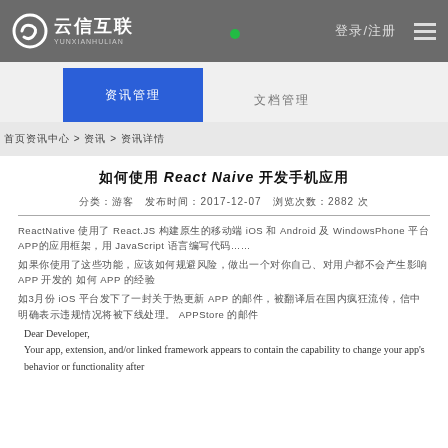云信互联 YUNXIANHULIAN
资讯管理 | 文档管理
首页 > 资讯 > 资讯详情
如何使用 React Naive 开发手机应用
分类：游客 发布时间：2017-12-07 浏览次数：2882 次
ReactNative 使用了 React.JS 构建原生的移动端 iOS 和 Android 及 WindowsPhone 平台 APP的应用框架，用 JavaScript 语言编写代码……
如3月份 iOS 平台发下了一封关于热更新 APP 的邮件，被翻译后在国内疯狂流传，信中明确表示违规情况将被下线处理。 APPStore 的邮件
Dear Developer,

Your app, extension, and/or linked framework appears to contain the capability to change your app's behavior or functionality after